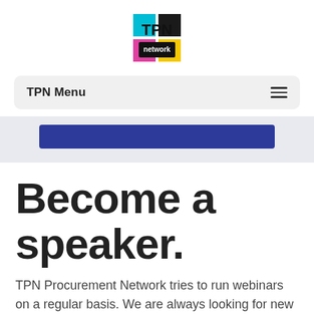[Figure (logo): TPN Network logo with cyan, yellow, and magenta color blocks and black TPN text]
TPN Menu
[Figure (other): Blue/indigo banner bar on light grey background]
Become a speaker.
TPN Procurement Network tries to run webinars on a regular basis. We are always looking for new